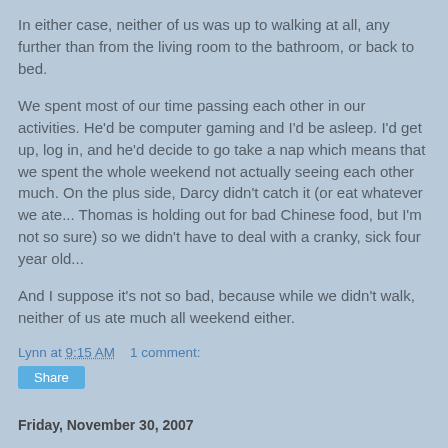In either case, neither of us was up to walking at all, any further than from the living room to the bathroom, or back to bed.
We spent most of our time passing each other in our activities. He'd be computer gaming and I'd be asleep. I'd get up, log in, and he'd decide to go take a nap which means that we spent the whole weekend not actually seeing each other much. On the plus side, Darcy didn't catch it (or eat whatever we ate... Thomas is holding out for bad Chinese food, but I'm not so sure) so we didn't have to deal with a cranky, sick four year old...
And I suppose it's not so bad, because while we didn't walk, neither of us ate much all weekend either.
Lynn at 9:15 AM    1 comment:
Share
Friday, November 30, 2007